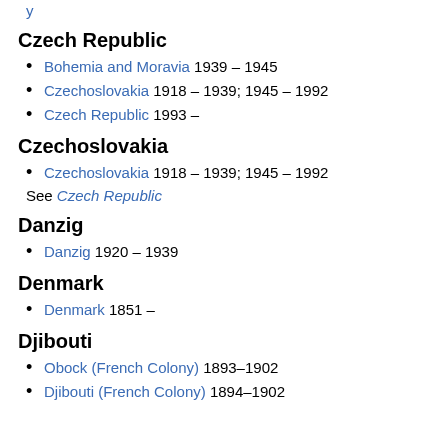y
Czech Republic
Bohemia and Moravia 1939 – 1945
Czechoslovakia 1918 – 1939; 1945 – 1992
Czech Republic 1993 –
Czechoslovakia
Czechoslovakia 1918 – 1939; 1945 – 1992
See Czech Republic
Danzig
Danzig 1920 – 1939
Denmark
Denmark 1851 –
Djibouti
Obock (French Colony) 1893–1902
Djibouti (French Colony) 1894–1902